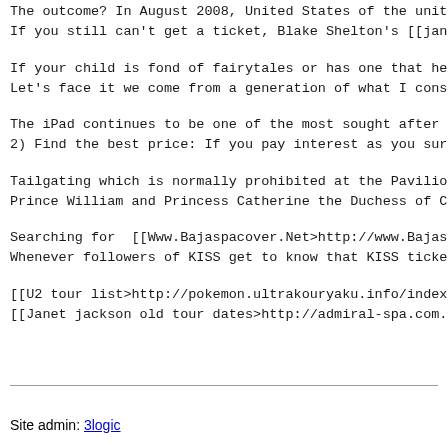The outcome? In August 2008, United States of the Unite
If you still can't get a ticket, Blake Shelton's [[janet
If your child is fond of fairytales or has one that he o
Let's face it we come from a generation of what I conside
The iPad continues to be one of the most sought after pre
2) Find the best price: If you pay interest as you surf f
Tailgating which is normally prohibited at the Pavilion w
Prince William and Princess Catherine the Duchess of Camb
Searching for  [[Www.Bajaspacover.Net>http://www.Bajaspace
Whenever followers of KISS get to know that KISS tickets
[[U2 tour list>http://pokemon.ultrakouryaku.info/index.ph
[[Janet jackson old tour dates>http://admiral-spa.com.ua/
Site admin: 3logic
PukiWiki 1.4.7 Copyright © 2001-2006 PukiWiki Developers Team. License is GPL.
Based on "PukiWiki" 1.3 by yu-ji. Powered by PHP 5.2.17. HTML convert time: 0.035 sec.